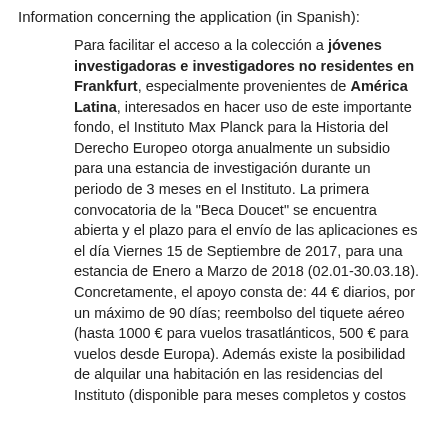Information concerning the application (in Spanish):
Para facilitar el acceso a la colección a jóvenes investigadoras e investigadores no residentes en Frankfurt, especialmente provenientes de América Latina, interesados en hacer uso de este importante fondo, el Instituto Max Planck para la Historia del Derecho Europeo otorga anualmente un subsidio para una estancia de investigación durante un periodo de 3 meses en el Instituto. La primera convocatoria de la "Beca Doucet" se encuentra abierta y el plazo para el envío de las aplicaciones es el día Viernes 15 de Septiembre de 2017, para una estancia de Enero a Marzo de 2018 (02.01-30.03.18). Concretamente, el apoyo consta de: 44 € diarios, por un máximo de 90 días; reembolso del tiquete aéreo (hasta 1000 € para vuelos trasatlánticos, 500 € para vuelos desde Europa). Además existe la posibilidad de alquilar una habitación en las residencias del Instituto (disponible para meses completos y costos